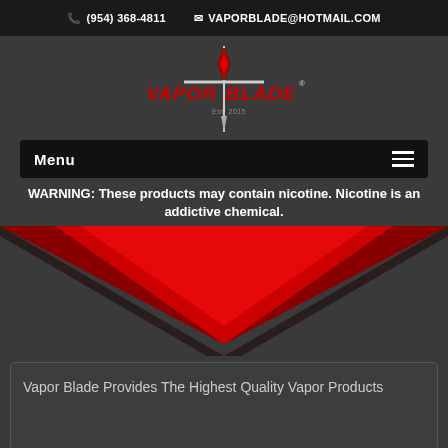(954) 368-4811   VAPORBLADE@HOTMAIL.COM
[Figure (logo): Vapor Blade logo with stylized sword through text, red and white on dark background]
Menu
WARNING: These products may contain nicotine. Nicotine is an addictive chemical.
[Figure (illustration): Large red downward-pointing chevron/triangle decorative graphic on dark background]
Vapor Blade Provides The Highest Quality Vapor Products